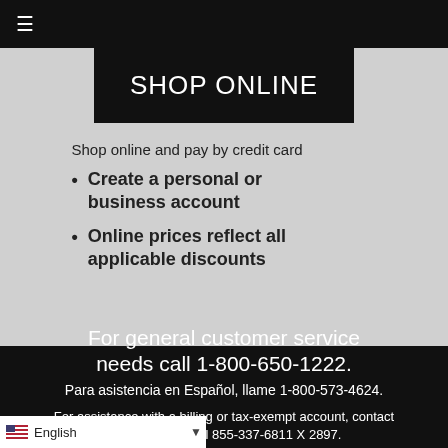≡
SHOP ONLINE
Shop online and pay by credit card
Create a personal or business account
Online prices reflect all applicable discounts
For general customer service needs call 1-800-650-1222.
Para asistencia en Español, llame 1-800-573-4624.
For assistance with a billing or tax-exempt account, contact Je...ot.com or call 855-337-6811 X 2897.